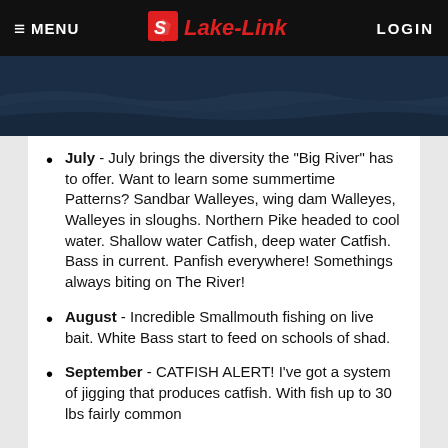MENU  LAKE-LINK  LOGIN
[Figure (photo): Dark blue water/lake banner image]
July - July brings the diversity the "Big River" has to offer. Want to learn some summertime Patterns? Sandbar Walleyes, wing dam Walleyes, Walleyes in sloughs. Northern Pike headed to cool water. Shallow water Catfish, deep water Catfish. Bass in current. Panfish everywhere! Somethings always biting on The River!
August - Incredible Smallmouth fishing on live bait. White Bass start to feed on schools of shad.
September - CATFISH ALERT! I've got a system of jigging that produces catfish. With fish up to 30 lbs fairly common